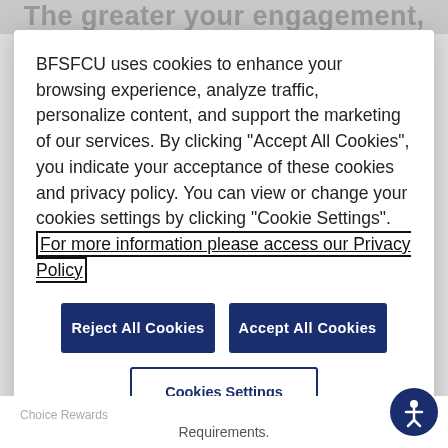The greater your engagement,
BFSFCU uses cookies to enhance your browsing experience, analyze traffic, personalize content, and support the marketing of our services. By clicking “Accept All Cookies”, you indicate your acceptance of these cookies and privacy policy. You can view or change your cookies settings by clicking “Cookie Settings”. For more information please access our Privacy Policy
Reject All Cookies
Accept All Cookies
Cookies Settings
Choice Rewards
Requirements.